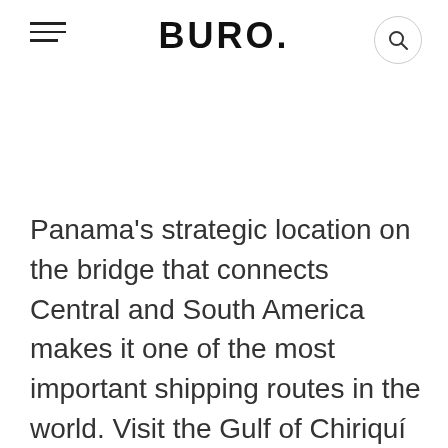BURO.
Panama's strategic location on the bridge that connects Central and South America makes it one of the most important shipping routes in the world. Visit the Gulf of Chiriquí which lies along Panama's Pacific coast and stay at Islas Secas—with access to 14